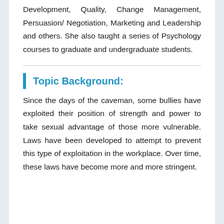Development, Quality, Change Management, Persuasion/ Negotiation, Marketing and Leadership and others. She also taught a series of Psychology courses to graduate and undergraduate students.
Topic Background:
Since the days of the caveman, some bullies have exploited their position of strength and power to take sexual advantage of those more vulnerable. Laws have been developed to attempt to prevent this type of exploitation in the workplace. Over time, these laws have become more and more stringent.